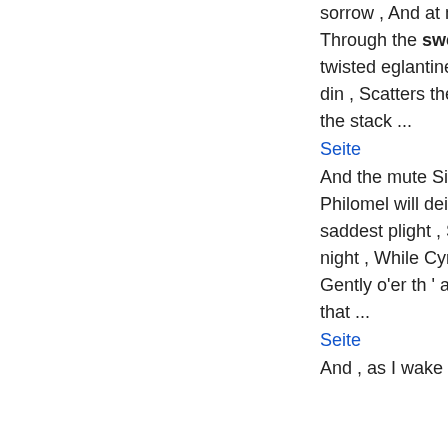sorrow , And at my window bid good morrow , Through the sweet - briar , or the vine , Or the twisted eglantine : While the cock , with lively din , Scatters the rear of darkness thin , And to the stack ...
Seite
And the mute Silence hist along , ' Less Philomel will deign a song , In her sweetest , saddest plight , Smoothing the rugged brow of night , While Cynthia checks her dragon yoke , Gently o'er th ' accustom'd oak ; Sweet bird , that ...
Seite
And , as I wake , sweet music breathe Above ...